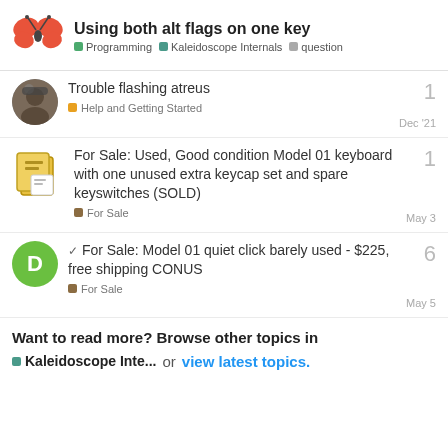Using both alt flags on one key — Programming, Kaleidoscope Internals, question
Trouble flashing atreus — Help and Getting Started — Dec '21 — 1
For Sale: Used, Good condition Model 01 keyboard with one unused extra keycap set and spare keyswitches (SOLD) — For Sale — May 3 — 1
For Sale: Model 01 quiet click barely used - $225, free shipping CONUS — For Sale — May 5 — 6
Want to read more? Browse other topics in Kaleidoscope Inte... or view latest topics.